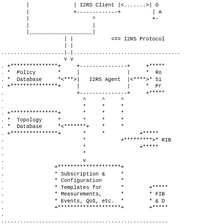[Figure (engineering-diagram): I2RS architecture diagram showing ASCII art network diagram with I2RS Client, I2RS Agent, Policy Database, Topology Database, Subscription & Configuration Templates box, RIB, FIB, and other components connected by dashed and dotted lines with arrows indicating I2RS Protocol communication.]